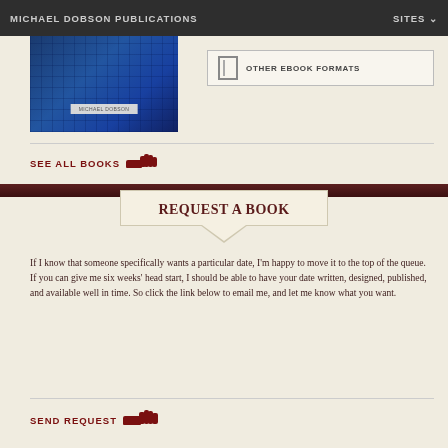MICHAEL DOBSON PUBLICATIONS | SITES
[Figure (photo): Book cover with blue grid/mosaic pattern and author name Michael Dobson]
OTHER EBOOK FORMATS
SEE ALL BOOKS
REQUEST A BOOK
If I know that someone specifically wants a particular date, I'm happy to move it to the top of the queue. If you can give me six weeks' head start, I should be able to have your date written, designed, published, and available well in time. So click the link below to email me, and let me know what you want.
SEND REQUEST